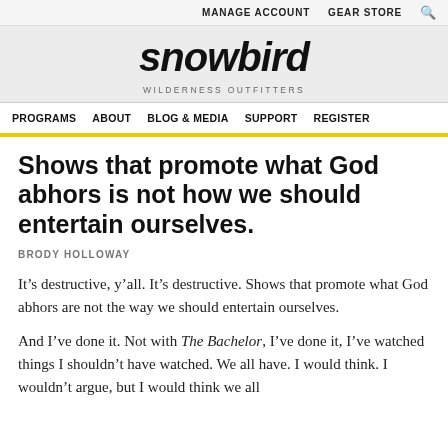MANAGE ACCOUNT   GEAR STORE
[Figure (logo): Snowbird Wilderness Outfitters logo with italic bold text and 'WILDERNESS OUTFITTERS' subtitle]
PROGRAMS   ABOUT   BLOG & MEDIA   SUPPORT   REGISTER
Shows that promote what God abhors is not how we should entertain ourselves.
BRODY HOLLOWAY
It’s destructive, y’all. It’s destructive. Shows that promote what God abhors are not the way we should entertain ourselves.
And I’ve done it. Not with The Bachelor, I’ve done it, I’ve watched things I shouldn’t have watched. We all have. I would think. I wouldn’t argue, but I would think we all